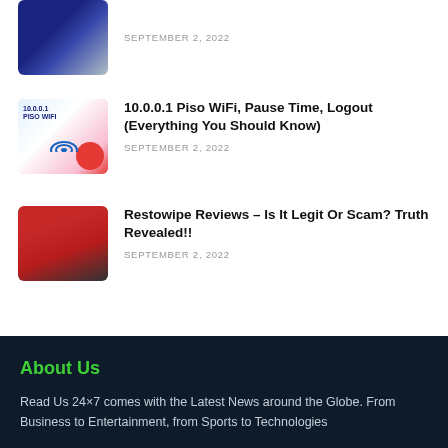[Figure (photo): Partial thumbnail image of an article, dark blue tones]
SEPTEMBER 2, 2022
[Figure (photo): 10.0.0.1 Piso WiFi illustrated thumbnail with person and wifi graphics]
10.0.0.1 Piso WiFi, Pause Time, Logout (Everything You Should Know)
SEPTEMBER 2, 2022
[Figure (photo): Red car being cleaned or polished, Restowipe article thumbnail]
Restowipe Reviews – Is It Legit Or Scam? Truth Revealed!!
SEPTEMBER 2, 2022
About Us
Read Us 24×7 comes with the Latest News around the Globe. From Business to Entertainment, from Sports to Technologies